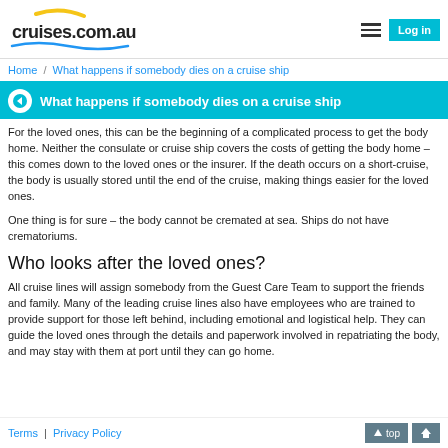cruises.com.au — Log in
Home / What happens if somebody dies on a cruise ship
What happens if somebody dies on a cruise ship
For the loved ones, this can be the beginning of a complicated process to get the body home. Neither the consulate or cruise ship covers the costs of getting the body home – this comes down to the loved ones or the insurer. If the death occurs on a short-cruise, the body is usually stored until the end of the cruise, making things easier for the loved ones.
One thing is for sure – the body cannot be cremated at sea. Ships do not have crematoriums.
Who looks after the loved ones?
All cruise lines will assign somebody from the Guest Care Team to support the friends and family. Many of the leading cruise lines also have employees who are trained to provide support for those left behind, including emotional and logistical help. They can guide the loved ones through the details and paperwork involved in repatriating the body, and may stay with them at port until they can go home.
Terms | Privacy Policy   ↑ top 🏠